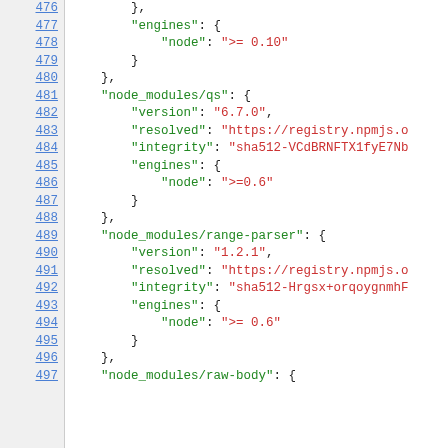[Figure (screenshot): Source code viewer showing lines 476-497 of a JSON/npm lock file with syntax highlighting. Green text for keys, red text for string values, black for punctuation. Line numbers are shown as blue hyperlinks on the left.]